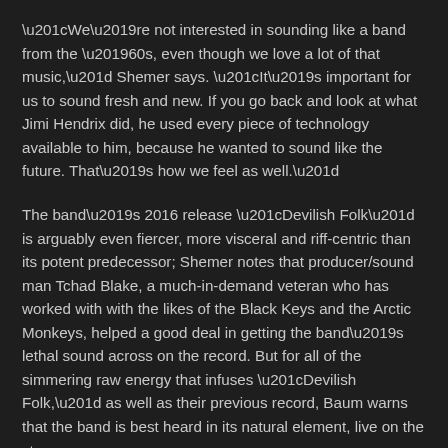“We’re not interested in sounding like a band from the ’60s, even though we love a lot of that music,” Shemer says. “It’s important for us to sound fresh and new. If you go back and look at what Jimi Hendrix did, he used every piece of technology available to him, because he wanted to sound like the future. That’s how we feel as well.”
The band’s 2016 release “Devilish Folk” is arguably even fiercer, more visceral and riff-centric than its potent predecessor; Shemer notes that producer/sound man Tchad Blake, a much-in-demand veteran who has worked with with the likes of the Black Keys and the Arctic Monkeys, helped a good deal in getting the band’s lethal sound across on the record. But for all of the simmering raw energy that infuses “Devilish Folk,” as well as their previous record, Baum warns that the band is best heard in its natural element, live on the stage.